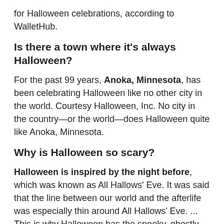for Halloween celebrations, according to WalletHub.
Is there a town where it's always Halloween?
For the past 99 years, Anoka, Minnesota, has been celebrating Halloween like no other city in the world. Courtesy Halloween, Inc. No city in the country—or the world—does Halloween quite like Anoka, Minnesota.
Why is Halloween so scary?
Halloween is inspired by the night before, which was known as All Hallows' Eve. It was said that the line between our world and the afterlife was especially thin around All Hallows' Eve. ... This is why Halloween has the spooky, ghostly atmosphere we know and love today.
What's the most unhealthy candy?